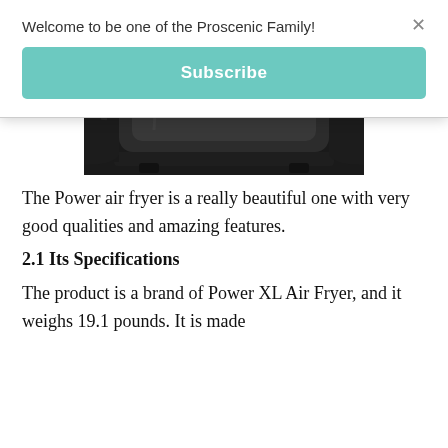Welcome to be one of the Proscenic Family!
Subscribe
[Figure (photo): Close-up photo of a black Proscenic/Power XL Air Fryer, showing the front drawer/basket area from above. The appliance is black and shiny with a large pull-out basket visible.]
The Power air fryer is a really beautiful one with very good qualities and amazing features.
2.1 Its Specifications
The product is a brand of Power XL Air Fryer, and it weighs 19.1 pounds. It is made